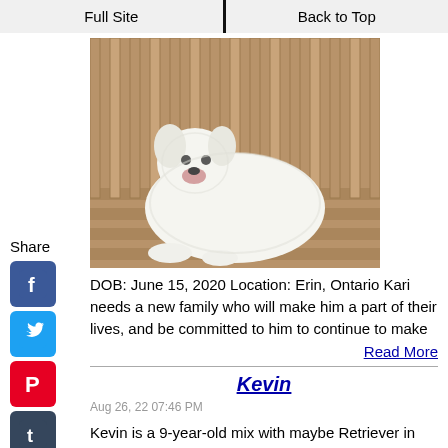Full Site | Back to Top
[Figure (photo): A white fluffy dog lying on a wooden deck]
DOB: June 15, 2020 Location: Erin, Ontario Kari needs a new family who will make him a part of their lives, and be committed to him to continue to make
Read More
Kevin
Aug 26, 22 07:46 PM
Kevin is a 9-year-old mix with maybe Retriever in him.We are still learning more about him. This is what we have so far: We think he has not had much
Read More